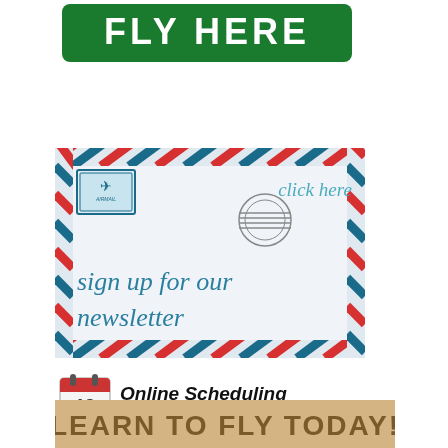[Figure (illustration): Green rounded rectangle button with white bold uppercase text 'FLY HERE']
[Figure (illustration): Air mail envelope graphic with red and blue diagonal border stripes, small stamp with airplane in upper left, postmark circle stamp in upper right, 'click here' italic text, and 'sign up for our newsletter' in teal italic script]
[Figure (illustration): Online Scheduling logo: calendar icon with '12' and checkmark, bold italic text 'Online Scheduling', smaller italic text 'Powered by Flight Schedule Pro.com']
[Figure (illustration): Banner with tan/kraft paper background and large bold uppercase brown text 'LEARN TO FLY TODAY!']